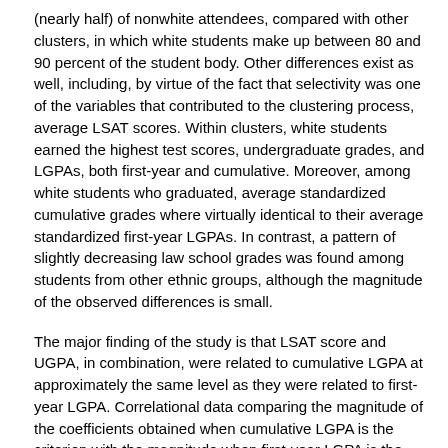(nearly half) of nonwhite attendees, compared with other clusters, in which white students make up between 80 and 90 percent of the student body. Other differences exist as well, including, by virtue of the fact that selectivity was one of the variables that contributed to the clustering process, average LSAT scores. Within clusters, white students earned the highest test scores, undergraduate grades, and LGPAs, both first-year and cumulative. Moreover, among white students who graduated, average standardized cumulative grades where virtually identical to their average standardized first-year LGPAs. In contrast, a pattern of slightly decreasing law school grades was found among students from other ethnic groups, although the magnitude of the observed differences is small.
The major finding of the study is that LSAT score and UGPA, in combination, were related to cumulative LGPA at approximately the same level as they were related to first-year LGPA. Correlational data comparing the magnitude of the coefficients obtained when cumulative LGPA is the criterion with the magnitude when first-year LGPA is the criterion showed that median correlations between predictors and criterion were virtually the same for each predictor. The predictors included LSAT score alone and in combination with UGPA. The data also show that the median correlation coefficients are fairly consistent across the six law school clusters; only in Cluster 6 were the validity coefficients slightly higher for cumulative LGPA than for first-year LGPA for each predictor.